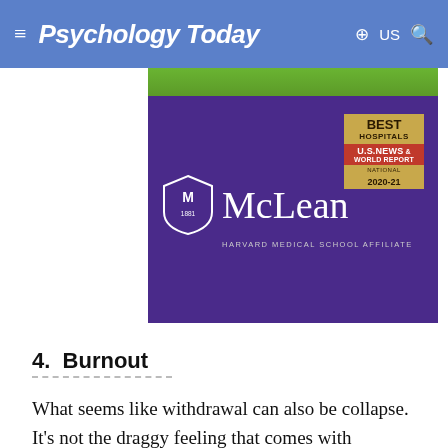Psychology Today
[Figure (illustration): McLean Hospital advertisement banner. Green bar at top, purple background with McLean logo (shield crest and McLean wordmark with HARVARD MEDICAL SCHOOL AFFILIATE tagline), and a Best Hospitals US News National 2020-21 badge on the right.]
4.  Burnout
What seems like withdrawal can also be collapse. It’s not the draggy feeling that comes with depression, but a deep-in-your-bones physical and emotional exhaustion. You see this in sons and daughters caring for a parent with Alzheimer’s, or parents doing day-after-day care for a disabled child. You see this in firefighters or rescue workers